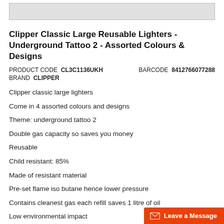[Figure (photo): Gray image strip at top of page, likely a product image placeholder]
Clipper Classic Large Reusable Lighters - Underground Tattoo 2 - Assorted Colours & Designs
PRODUCT CODE CL3C1136UKH   BARCODE 8412766077288
BRAND CLIPPER
Clipper classic large lighters
Come in 4 assorted colours and designs
Theme: underground tattoo 2
Double gas capacity so saves you money
Reusable
Child resistant: 85%
Made of resistant material
Pre-set flame iso butane hence lower pressure
Contains cleanest gas each refill saves 1 litre of oil
Low environmental impact